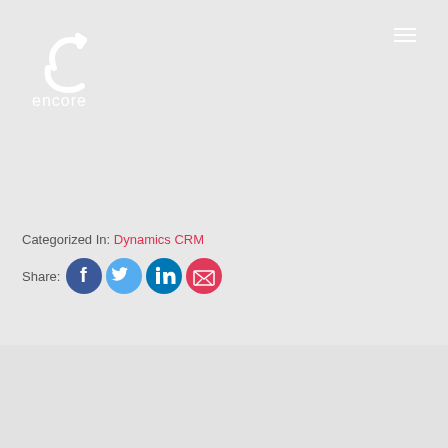[Figure (logo): Encore company logo — white phone/arrow icon with 'encore' text below, on light grey background]
Categorized In: Dynamics CRM
Share: [Facebook] [Twitter] [LinkedIn] [Email]
Author